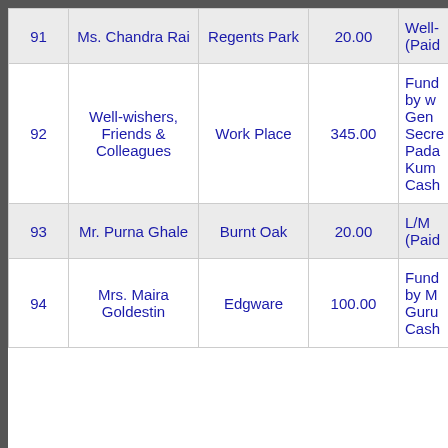| # | Name | Place | Amount | Note |
| --- | --- | --- | --- | --- |
| 91 | Ms. Chandra Rai | Regents Park | 20.00 | Well... (Paid... |
| 92 | Well-wishers, Friends & Colleagues | Work Place | 345.00 | Fund... by w... Gen... Secre... Pada... Kum... Cash... |
| 93 | Mr. Purna Ghale | Burnt Oak | 20.00 | L/M... (Paid... |
| 94 | Mrs. Maira Goldestin | Edgware | 100.00 | Fund... by M... Guru... Cash... |